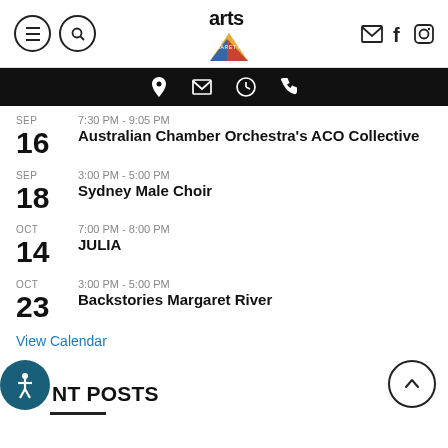Arts Margaret River — site header with navigation icons and logo
SEP 16 | 7:30 PM - 9:05 PM | Australian Chamber Orchestra's ACO Collective
SEP 18 | 3:00 PM - 5:00 PM | Sydney Male Choir
OCT 14 | 7:00 PM - 8:00 PM | JULIA
OCT 23 | 3:00 PM - 5:00 PM | Backstories Margaret River
View Calendar
NT POSTS